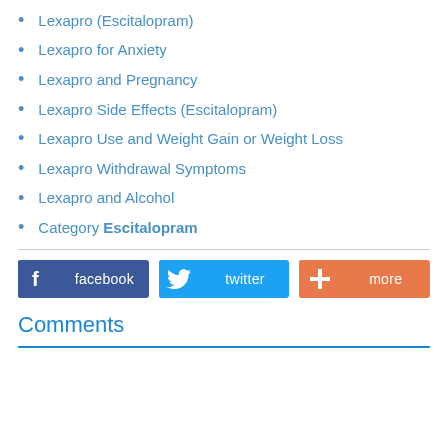Lexapro (Escitalopram)
Lexapro for Anxiety
Lexapro and Pregnancy
Lexapro Side Effects (Escitalopram)
Lexapro Use and Weight Gain or Weight Loss
Lexapro Withdrawal Symptoms
Lexapro and Alcohol
Category Escitalopram
[Figure (other): Social sharing buttons: facebook, twitter, more]
Comments